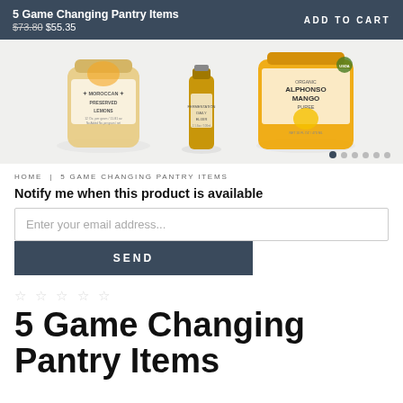5 Game Changing Pantry Items $73.80 $55.35 ADD TO CART
[Figure (photo): Three product bottles: Moroccan Preserved Lemons jar, a small brown bottle, and Organic Alphonso Mango Puree jar]
HOME | 5 GAME CHANGING PANTRY ITEMS
Notify me when this product is available
Enter your email address...
SEND
☆ ☆ ☆ ☆ ☆
5 Game Changing Pantry Items